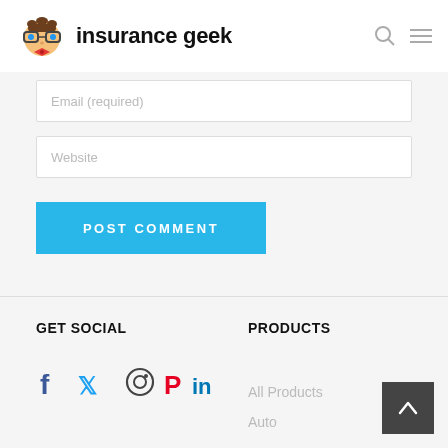insurance geek
Email (required)
Website
POST COMMENT
GET SOCIAL
PRODUCTS
[Figure (infographic): Social media icons: Facebook, Twitter, Instagram, Pinterest, LinkedIn]
All Products
Auto